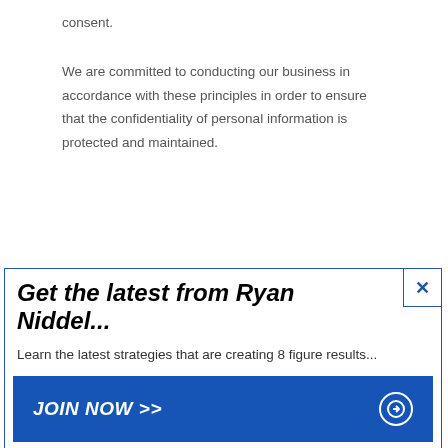consent.
We are committed to conducting our business in accordance with these principles in order to ensure that the confidentiality of personal information is protected and maintained.
[Figure (infographic): Advertisement popup box with blue border. Headline: 'Get the latest from Ryan Niddel...' Subtext: 'Learn the latest strategies that are creating 8 figure results...' Blue button: 'JOIN NOW >>' with a circle arrow icon. Close button (X) in top right corner.]